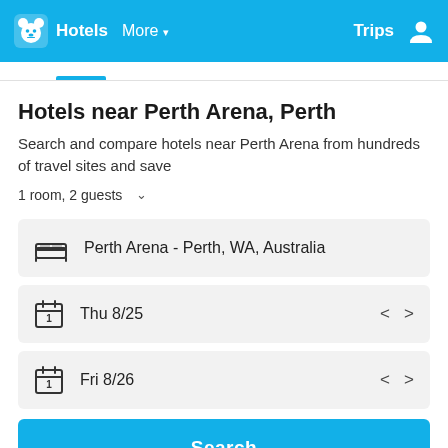Hotels   More   Trips
Hotels near Perth Arena, Perth
Search and compare hotels near Perth Arena from hundreds of travel sites and save
1 room, 2 guests
Perth Arena - Perth, WA, Australia
Thu 8/25
Fri 8/26
Search